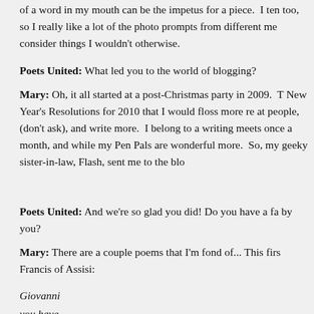of a word in my mouth can be the impetus for a piece. I ten too, so I really like a lot of the photo prompts from different me consider things I wouldn't otherwise.
Poets United: What led you to the world of blogging?
Mary: Oh, it all started at a post-Christmas party in 2009. T New Year's Resolutions for 2010 that I would floss more re at people, (don't ask), and write more. I belong to a writing meets once a month, and while my Pen Pals are wonderful more. So, my geeky sister-in-law, Flash, sent me to the blo
Poets United: And we're so glad you did! Do you have a fa by you?
Mary: There are a couple poems that I'm fond of... This firs Francis of Assisi:
Giovanni
you have
the spark